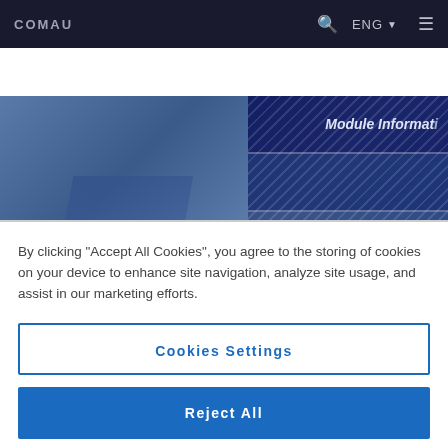COMAU | ENG | navigation bar with search and menu
[Figure (screenshot): Hero image of COMAU website showing a blue industrial panel with diagonal stripe texture and overlaid text panels reading 'Module Informat...' and 'Spac...' with a dark figure silhouette at bottom left]
By clicking "Accept All Cookies", you agree to the storing of cookies on your device to enhance site navigation, analyze site usage, and assist in our marketing efforts.
Cookies Settings
Reject All